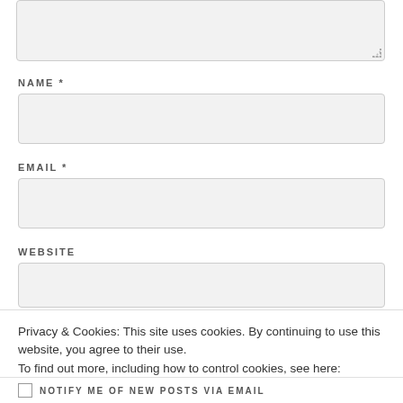[Figure (screenshot): Top portion of a web comment form showing a partially visible textarea with resize handle at bottom right]
NAME *
[Figure (screenshot): Name input field (empty, light gray background)]
EMAIL *
[Figure (screenshot): Email input field (empty, light gray background)]
WEBSITE
[Figure (screenshot): Website input field (empty, light gray background)]
Privacy & Cookies: This site uses cookies. By continuing to use this website, you agree to their use.
To find out more, including how to control cookies, see here:
Cookie Policy
Close and accept
NOTIFY ME OF NEW POSTS VIA EMAIL